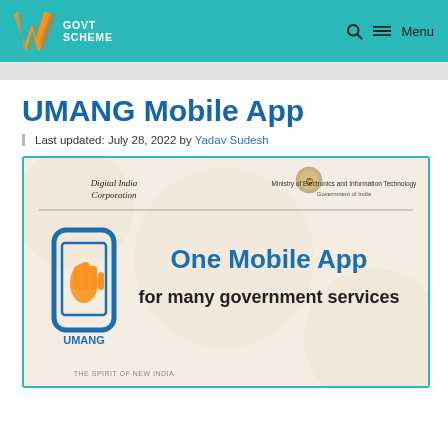GOVT SCHEME — Menu
UMANG Mobile App
Last updated: July 28, 2022 by Yadav Sudesh
[Figure (illustration): UMANG app banner showing 'One Mobile App for many government services' with Digital India Corporation and Ministry of Electronics and Information Technology logos]